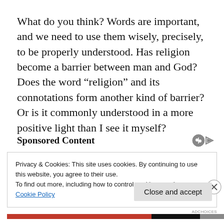What do you think? Words are important, and we need to use them wisely, precisely, to be properly understood. Has religion become a barrier between man and God? Does the word “religion” and its connotations form another kind of barrier? Or is it commonly understood in a more positive light than I see it myself?
Sponsored Content
Privacy & Cookies: This site uses cookies. By continuing to use this website, you agree to their use.
To find out more, including how to control cookies, see here:
Cookie Policy
Close and accept